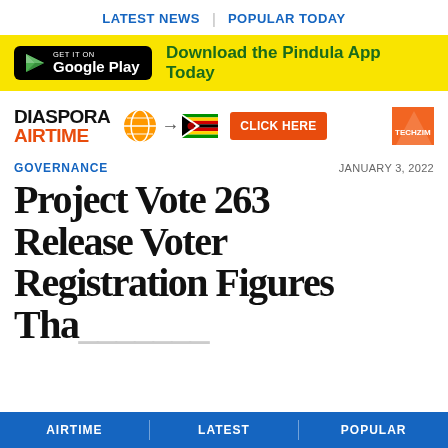LATEST NEWS | POPULAR TODAY
[Figure (screenshot): Google Play Store download badge with yellow background and text 'Download the Pindula App Today']
[Figure (infographic): Diaspora Airtime advertisement banner with globe icon, arrow, Zimbabwe flag, CLICK HERE button, and Techzim logo]
GOVERNANCE
JANUARY 3, 2022
Project Vote 263 Release Voter Registration Figures Tha...
AIRTIME | LATEST | POPULAR